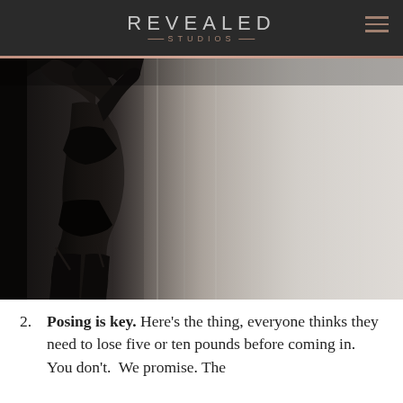REVEALED STUDIOS
[Figure (photo): Boudoir photography showing a woman in black lingerie posing near sheer white curtains, shot in moody low-key lighting.]
2. Posing is key. Here’s the thing, everyone thinks they need to lose five or ten pounds before coming in. You don’t.  We promise. The next tip to get this is, about to...